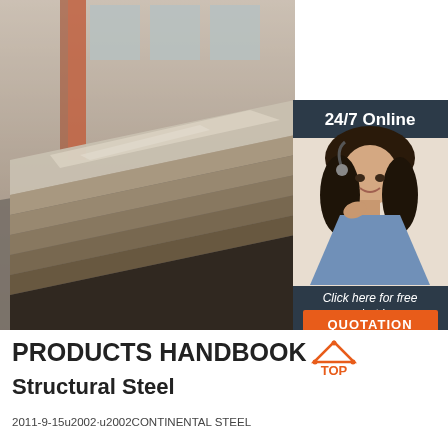[Figure (photo): Industrial warehouse/factory interior showing large steel plates stacked and stored on the floor, with orange structural supports and windows visible in the background. Photo composite includes an inset panel on the right with a customer service agent, '24/7 Online' header, 'Click here for free chat!' text, and an orange QUOTATION button.]
PRODUCTS HANDBOOK Structural Steel
2011-9-15u2002·u2002CONTINENTAL STEEL